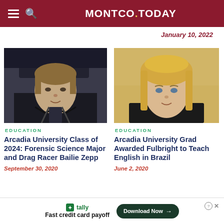MONTCO.TODAY
January 10, 2022
[Figure (photo): Young person with brown hair in a racing car cockpit wearing dark jacket]
EDUCATION
Arcadia University Class of 2024: Forensic Science Major and Drag Racer Bailie Zepp
September 30, 2020
[Figure (photo): Young blonde woman with sunglasses on her head, standing in front of a light yellow wall, wearing a black top]
EDUCATION
Arcadia University Grad Awarded Fulbright to Teach English in Brazil
June 2, 2020
tally Fast credit card payoff — Download Now